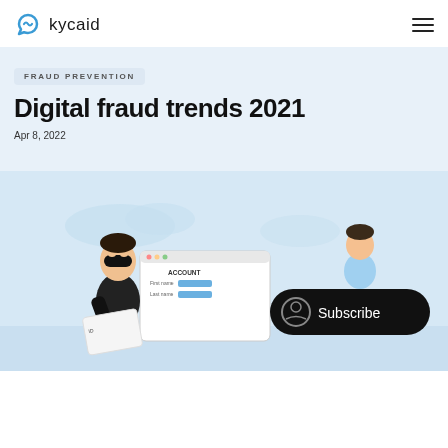kycaid
FRAUD PREVENTION
Digital fraud trends 2021
Apr 8, 2022
[Figure (illustration): Illustration of a masked hacker holding an ID document in front of a laptop showing an account form, with a customer and a Subscribe button bubble on the right]